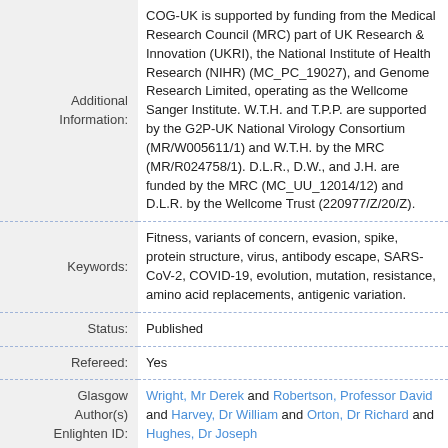| Field | Value |
| --- | --- |
| Additional Information: | COG-UK is supported by funding from the Medical Research Council (MRC) part of UK Research & Innovation (UKRI), the National Institute of Health Research (NIHR) (MC_PC_19027), and Genome Research Limited, operating as the Wellcome Sanger Institute. W.T.H. and T.P.P. are supported by the G2P-UK National Virology Consortium (MR/W005611/1) and W.T.H. by the MRC (MR/R024758/1). D.L.R., D.W., and J.H. are funded by the MRC (MC_UU_12014/12) and D.L.R. by the Wellcome Trust (220977/Z/20/Z). |
| Keywords: | Fitness, variants of concern, evasion, spike, protein structure, virus, antibody escape, SARS-CoV-2, COVID-19, evolution, mutation, resistance, amino acid replacements, antigenic variation. |
| Status: | Published |
| Refereed: | Yes |
| Glasgow Author(s) Enlighten ID: | Wright, Mr Derek and Robertson, Professor David and Harvey, Dr William and Orton, Dr Richard and Hughes, Dr Joseph |
|  | Wright, D. W., Harvey, W. T., Hughes, J., Cox, M., |